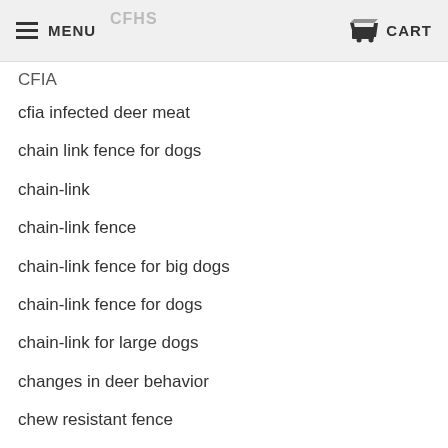MENU   CART
CFIA
cfia infected deer meat
chain link fence for dogs
chain-link
chain-link fence
chain-link fence for big dogs
chain-link fence for dogs
chain-link for large dogs
changes in deer behavior
chew resistant fence
chew resistant fences
chewing animals
chewing deer fence
chicken fence